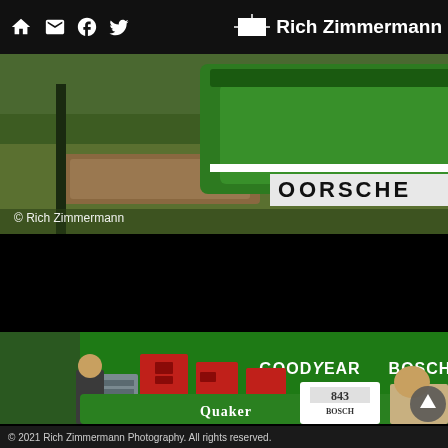Rich Zimmermann
[Figure (photo): Close-up of a green Porsche racing car rear section with 'PORSCHE' lettering visible, parked on grass. Watermark: © Rich Zimmermann]
[Figure (photo): Green Formula racing car in a pit/garage area with red tool boxes, mechanics visible, sponsorships reading 'Quaker', 'BOSCH', 'GOODYEAR', 'BOSCH' on green backdrop]
© 2021 Rich Zimmermann Photography. All rights reserved.